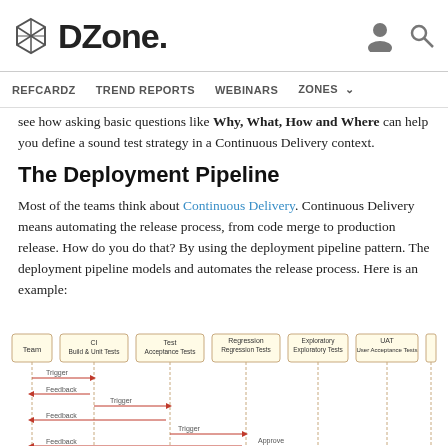DZone. [navigation: REFCARDZ, TREND REPORTS, WEBINARS, ZONES]
see how asking basic questions like Why, What, How and Where can help you define a sound test strategy in a Continuous Delivery context.
The Deployment Pipeline
Most of the teams think about Continuous Delivery. Continuous Delivery means automating the release process, from code merge to production release. How do you do that? By using the deployment pipeline pattern. The deployment pipeline models and automates the release process. Here is an example:
[Figure (flowchart): A deployment pipeline sequence diagram showing stages: Team, CI Build & Unit Tests, Test Acceptance Tests, Regression Regression Tests, Exploratory Exploratory Tests, UAT User Acceptance Tests, Production Smoke Tests. Arrows show Trigger and Feedback flows between stages, with Approve step near the end.]